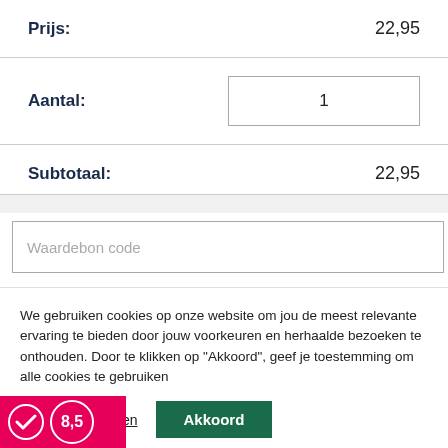Prijs: 22,95
Aantal: 1
Subtotaal: 22,95
Waardebon code
We gebruiken cookies op onze website om jou de meest relevante ervaring te bieden door jouw voorkeuren en herhaalde bezoeken te onthouden. Door te klikken op "Akkoord", geef je toestemming om alle cookies te gebruiken
Cookie instellingen
Akkoord
8,5